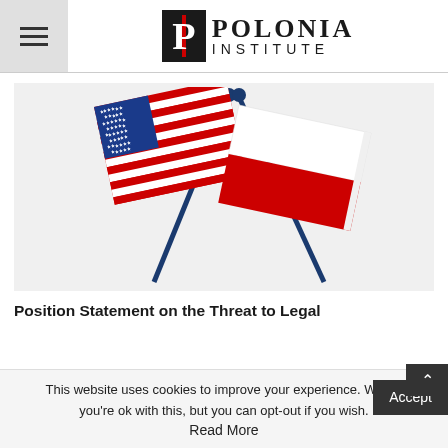POLONIA INSTITUTE
[Figure (illustration): Crossed American and Polish flags illustration on a light gray background. The American flag is on the left with blue canton and red/white stripes, the Polish flag is on the right with white top half and red bottom half, both flags mounted on blue poles crossing in the middle.]
Position Statement on the Threat to Legal
This website uses cookies to improve your experience. We'll a you're ok with this, but you can opt-out if you wish. Accept
Read More